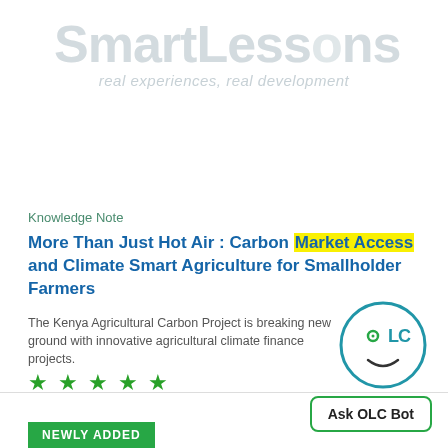[Figure (logo): SmartLessons logo with tagline 'real experiences, real development']
Knowledge Note
More Than Just Hot Air : Carbon Market Access and Climate Smart Agriculture for Smallholder Farmers
The Kenya Agricultural Carbon Project is breaking new ground with innovative agricultural climate finance projects.
[Figure (other): Five green star rating]
[Figure (logo): OLC Bot circular logo with face icon]
Ask OLC Bot
NEWLY ADDED